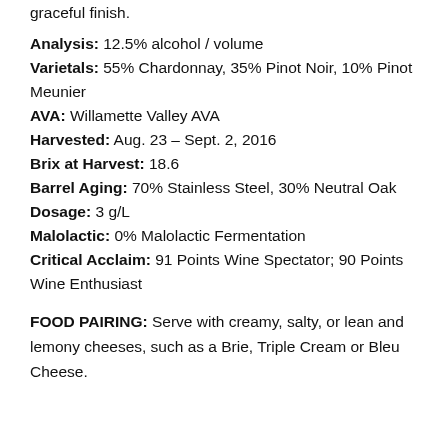graceful finish.
Analysis: 12.5% alcohol / volume
Varietals: 55% Chardonnay, 35% Pinot Noir, 10% Pinot Meunier
AVA: Willamette Valley AVA
Harvested: Aug. 23 – Sept. 2, 2016
Brix at Harvest: 18.6
Barrel Aging: 70% Stainless Steel, 30% Neutral Oak
Dosage: 3 g/L
Malolactic: 0% Malolactic Fermentation
Critical Acclaim: 91 Points Wine Spectator; 90 Points Wine Enthusiast
FOOD PAIRING: Serve with creamy, salty, or lean and lemony cheeses, such as a Brie, Triple Cream or Bleu Cheese.